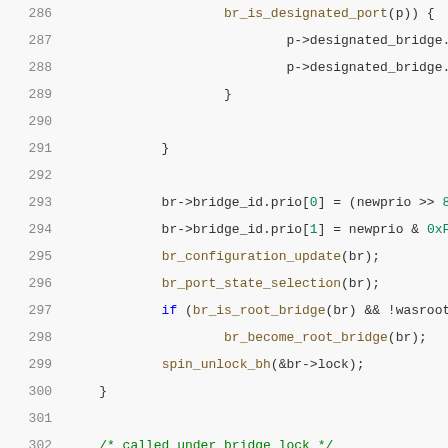[Figure (screenshot): Source code listing showing C code for bridge STP priority functions, lines 286-306. Syntax highlighted code editor view with line numbers on left.]